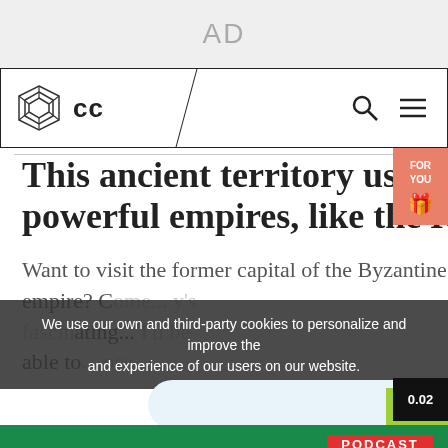AD
[Figure (logo): CC website navigation bar with geometric logo, CC text, search icon and hamburger menu]
This ancient territory used to be the heart of powerful empires, like the Roman and the Ottoman
We use our own and third-party cookies to personalize and improve the and experience of our users on our website.
Want to visit the former capital of the Byzantine empire? C... y's fascinating... 'll be able to... ose
AGREE
[Figure (infographic): LaOpinion podcast ad: PODCAST tag, LaOpinión HOY branding, Los Temas del Día en 10 Minutos, audio waveform, ESCÚCHALO EN Spotify footer]